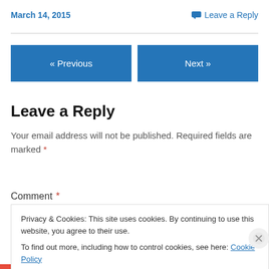March 14, 2015
Leave a Reply
« Previous
Next »
Leave a Reply
Your email address will not be published. Required fields are marked *
Comment *
Privacy & Cookies: This site uses cookies. By continuing to use this website, you agree to their use.
To find out more, including how to control cookies, see here: Cookie Policy
Close and accept